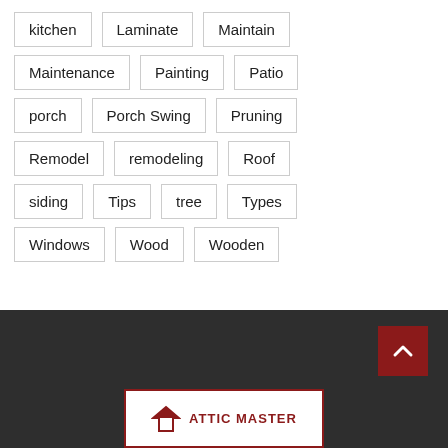kitchen
Laminate
Maintain
Maintenance
Painting
Patio
porch
Porch Swing
Pruning
Remodel
remodeling
Roof
siding
Tips
tree
Types
Windows
Wood
Wooden
[Figure (logo): Website logo with house icon and red text in a bordered box]